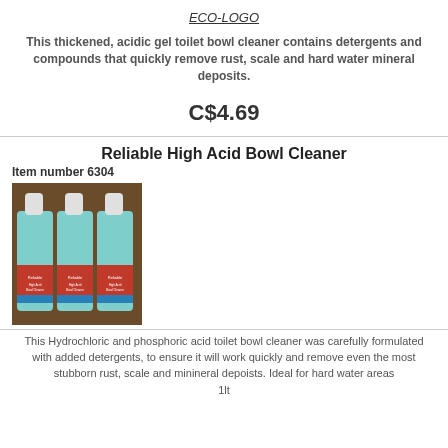ECO-LOGO
This thickened, acidic gel toilet bowl cleaner contains detergents and compounds that quickly remove rust, scale and hard water mineral deposits.
C$4.69
Reliable High Acid Bowl Cleaner
Item number 6304
[Figure (photo): Three bottles of Reliable High Acid Bowl Cleaner with teal/green liquid contents and red and blue label.]
This Hydrochloric and phosphoric acid toilet bowl cleaner was carefully formulated with added detergents, to ensure it will work quickly and remove even the most stubborn rust, scale and minineral depoists. Ideal for hard water areas
1lt